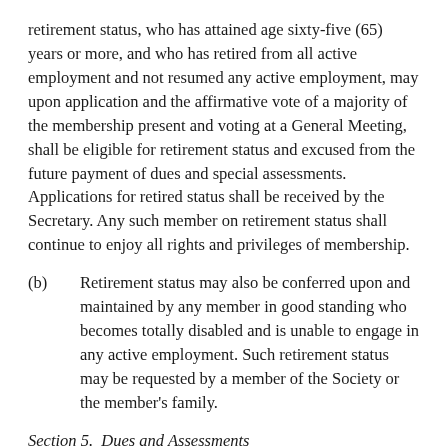retirement status, who has attained age sixty-five (65) years or more, and who has retired from all active employment and not resumed any active employment, may upon application and the affirmative vote of a majority of the membership present and voting at a General Meeting, shall be eligible for retirement status and excused from the future payment of dues and special assessments. Applications for retired status shall be received by the Secretary. Any such member on retirement status shall continue to enjoy all rights and privileges of membership.
(b)	Retirement status may also be conferred upon and maintained by any member in good standing who becomes totally disabled and is unable to engage in any active employment. Such retirement status may be requested by a member of the Society or the member's family.
Section 5.  Dues and Assessments
(a)	The Board of Governors shall have the authority to determine annual or multi-year membership dues. Upon